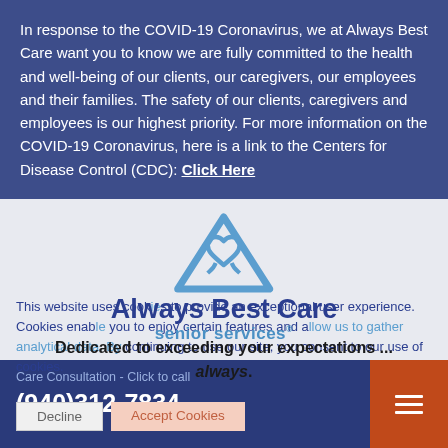In response to the COVID-19 Coronavirus, we at Always Best Care want you to know we are fully committed to the health and well-being of our clients, our caregivers, our employees and their families. The safety of our clients, caregivers and employees is our highest priority. For more information on the COVID-19 Coronavirus, here is a link to the Centers for Disease Control (CDC): Click Here
[Figure (logo): Always Best Care Senior Services logo: blue triangle with heart/ribbon symbol above the text 'Always Best Care' in dark blue and 'senior services' in light blue]
This website uses cookies to provide an exceptional user experience. Cookies enable you to enjoy certain features and allow us to gather analytical data. By continuing to use our site, you consent to our use of cookies.
Dedicated to exceeding your expectations ... always.
Care Consultation - Click to call
(940)312-7834